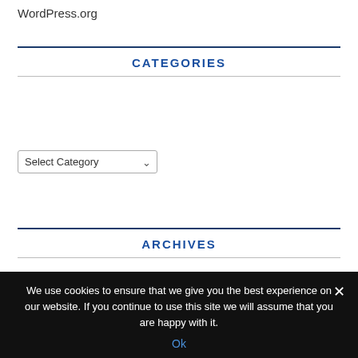WordPress.org
CATEGORIES
Select Category
ARCHIVES
July 2022
June 2022
We use cookies to ensure that we give you the best experience on our website. If you continue to use this site we will assume that you are happy with it.
Ok